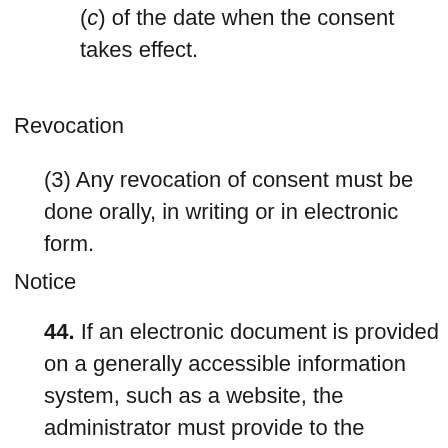(c) of the date when the consent takes effect.
Revocation
(3) Any revocation of consent must be done orally, in writing or in electronic form.
Notice
44. If an electronic document is provided on a generally accessible information system, such as a website, the administrator must provide to the member a notice, in writing or in electronic form, of the availability and location of the electronic document.